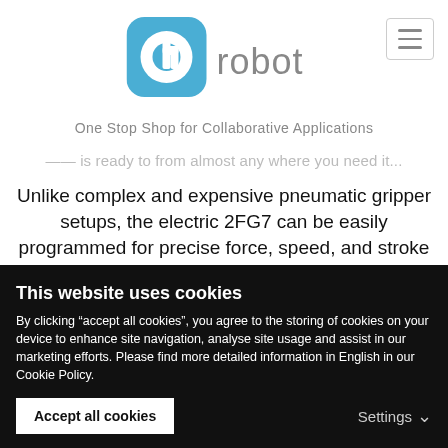[Figure (logo): OnRobot logo with blue rounded square icon and 'robot' text in gray]
One Stop Shop for Collaborative Applications
... is ready to from almost any where you need it...
Unlike complex and expensive pneumatic gripper setups, the electric 2FG7 can be easily programmed for precise force, speed, and stroke control settings through an intuitive software interface. Intelligent feedback such as grip detection and lost-grip detection improve overall accuracy. And like the rest of OnRobot’s family of no-fuss, all-electric grippers, the 2FG7 lets you say “so long” to the hassles and costs of
This website uses cookies
By clicking “accept all cookies”, you agree to the storing of cookies on your device to enhance site navigation, analyse site usage and assist in our marketing efforts. Please find more detailed information in English in our Cookie Policy.
Accept all cookies
Settings